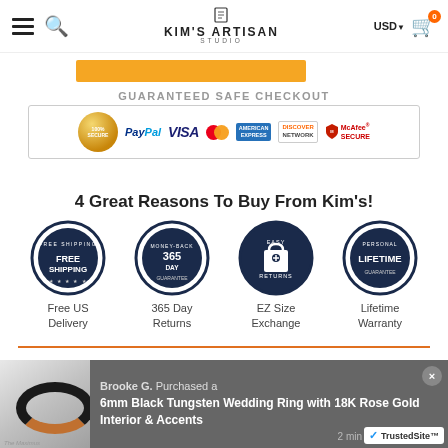Kim's Artisan Studio — USD — Cart 0
[Figure (screenshot): Gold colored button (add to cart or similar)]
GUARANTEED SAFE CHECKOUT
[Figure (infographic): Guaranteed Safe Checkout badge with PayPal, VISA, Mastercard, American Express, Discover Network, McAfee Secure logos]
4 Great Reasons To Buy From Kim's!
[Figure (infographic): Four circular badges: Free Shipping, 365 Day (Money-Back Guarantee), Easy Returns, Lifetime (Warranty)]
Free US Delivery
365 Day Returns
EZ Size Exchange
Lifetime Warranty
Description
Brooke G.  Purchased a
6mm Black Tungsten Wedding Ring with 18K Rose Gold Interior & Accents
2 min